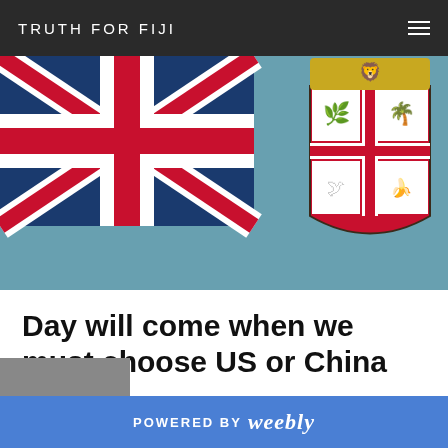TRUTH FOR FIJI
[Figure (photo): Fiji national flag — light blue background with the Union Jack in the upper-left canton and the Fijian coat of arms (shield with lion, sugarcane, coconut palm, dove, and banana bunch) on the right side.]
Day will come when we must choose US or China
4/11/2013
0 Comments
POWERED BY weebly